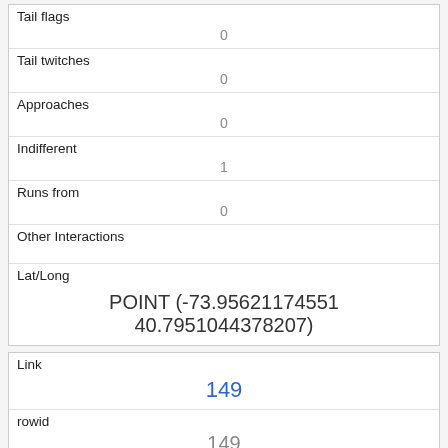| Tail flags | 0 |
| Tail twitches | 0 |
| Approaches | 0 |
| Indifferent | 1 |
| Runs from | 0 |
| Other Interactions |  |
| Lat/Long | POINT (-73.95621174551 40.7951044378207) |
| Link | 149 |
| rowid | 149 |
| longitude | -73.95763402312357 |